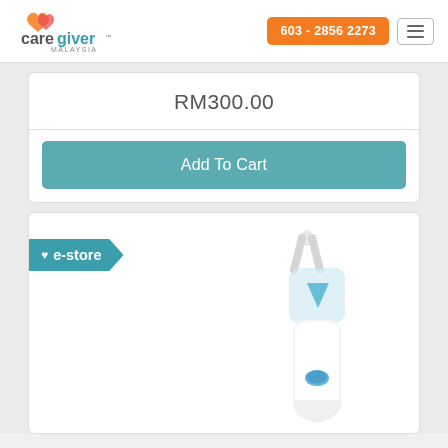[Figure (logo): Caregiver Malaysia logo with orange/red heart icon and teal 'giver' text]
603 - 2856 2273
RM300.00
Add To Cart
[Figure (photo): e-store badge with white heart icon; product image of a white and blue electric nasal aspirator device]
e-store